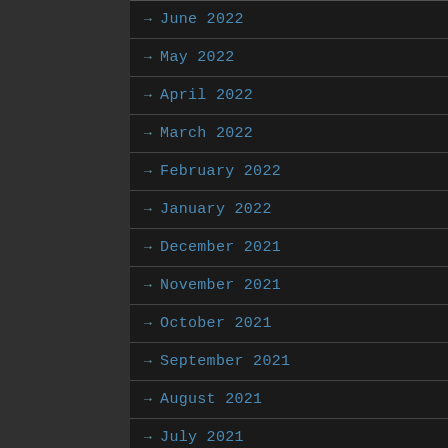→ June 2022
→ May 2022
→ April 2022
→ March 2022
→ February 2022
→ January 2022
→ December 2021
→ November 2021
→ October 2021
→ September 2021
→ August 2021
→ July 2021
→ June 2021
→ May 2021